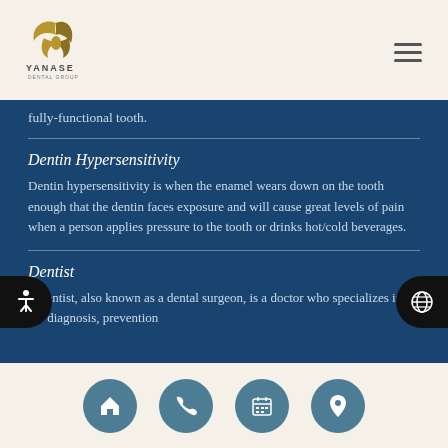[Figure (logo): Yanase Dental Group logo with stylized bird/feather icon in gold and text]
fully-functional tooth.
Dentin Hypersensitivity
Dentin hypersensitivity is when the enamel wears down on the tooth enough that the dentin faces exposure and will cause great levels of pain when a person applies pressure to the tooth or drinks hot/cold beverages.
Dentist
A dentist, also known as a dental surgeon, is a doctor who specializes in the diagnosis, prevention...